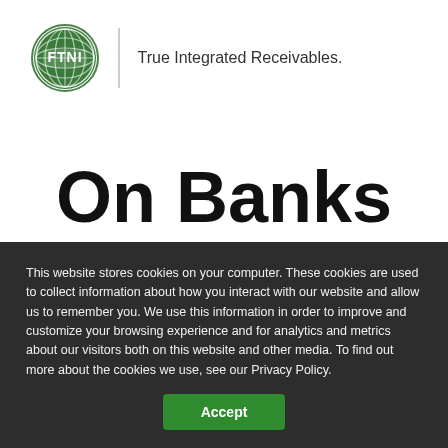[Figure (logo): FTNI logo — green globe with grid lines and 'FTNI' text, circular badge]
True Integrated Receivables.
On Banks and FinTechs; A
This website stores cookies on your computer. These cookies are used to collect information about how you interact with our website and allow us to remember you. We use this information in order to improve and customize your browsing experience and for analytics and metrics about our visitors both on this website and other media. To find out more about the cookies we use, see our Privacy Policy.
Accept